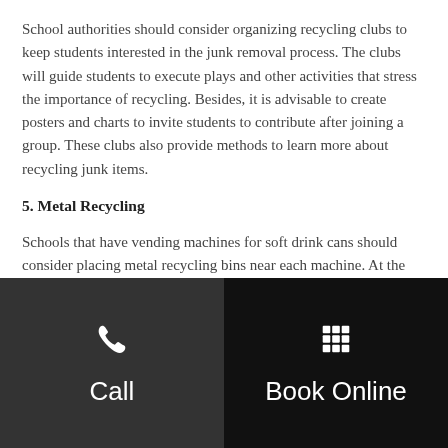School authorities should consider organizing recycling clubs to keep students interested in the junk removal process. The clubs will guide students to execute plays and other activities that stress the importance of recycling. Besides, it is advisable to create posters and charts to invite students to contribute after joining a group. These clubs also provide methods to learn more about recycling junk items.
5. Metal Recycling
Schools that have vending machines for soft drink cans should consider placing metal recycling bins near each machine. At the same time, it is imperative to contact the local authority or council to get permission before placing the bins. Both students and teachers can perform recycling activities with them that can help improve the environment. Moreover, this shows ways to learn about the importance of recycling in detail.
[Figure (infographic): Bottom navigation bar with two buttons: a dark gray 'Call' button with a phone icon on the left, and a black 'Book Online' button with a grid/calendar icon on the right.]